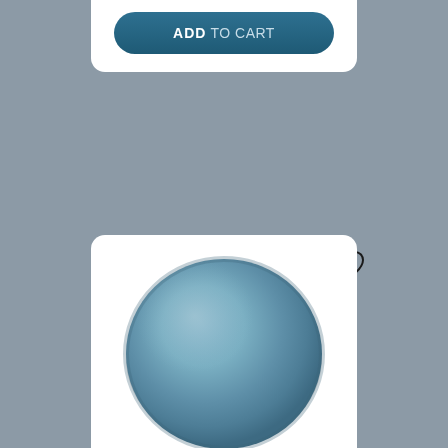[Figure (other): E-commerce product listing page showing a blue ceramic plate (Luminarc Diwali 27cm) with an ADD TO CART button at top and a product card with heart/wishlist icon, product image, brand name, product name, price and per-item label.]
ADD TO CART
[Figure (photo): A round blue ceramic plate (Luminarc Diwali 27cm) viewed from above, showing a dusty steel-blue color with slight gradient shading.]
LUMINARC
Blue plate 27 cm Diwali
€3.40
per item